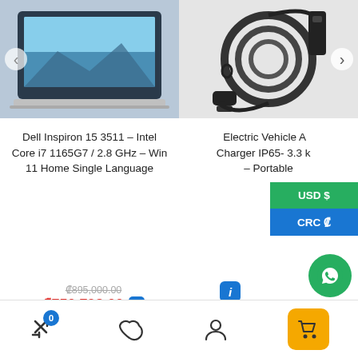[Figure (screenshot): Top portion of e-commerce product listing page showing two product images: left is a Dell laptop, right is an EV charger with cable. Left image has a left arrow nav, right image has a right arrow nav.]
Dell Inspiron 15 3511 – Intel Core i7 1165G7 / 2.8 GHz – Win 11 Home Single Language
Electric Vehicle AC Charger IP65- 3.3 kW – Portable
₡895,000.00 (strikethrough original price)
₡750,793.00
USD $
CRC ₡
[Figure (screenshot): Bottom navigation bar with compare icon (badge 0), favorites heart icon, user account icon, and yellow cart icon. Green WhatsApp floating button in bottom right.]